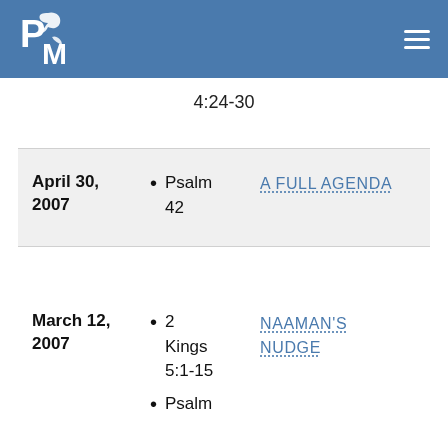[Figure (logo): PM logo with dove and leaf, white on blue]
4:24-30
| Date | Readings | Sermon Title |
| --- | --- | --- |
| April 30, 2007 | Psalm 42 | A FULL AGENDA |
| March 12, 2007 | 2 Kings 5:1-15
Psalm | NAAMAN'S NUDGE |